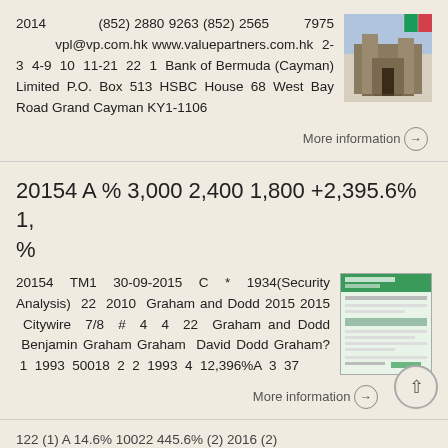2014 (852) 2880 9263 (852) 2565 7975 vpl@vp.com.hk www.valuepartners.com.hk 2-3 4-9 10 11-21 22 1 Bank of Bermuda (Cayman) Limited P.O. Box 513 HSBC House 68 West Bay Road Grand Cayman KY1-1106
[Figure (photo): Photo of a building/landmark with a flag icon]
More information →
20154 A % 3,000 2,400 1,800 +2,395.6% 1, %
20154 TM1 30-09-2015 C * 1934(Security Analysis) 22 2010 Graham and Dodd 2015 2015 Citywire 7/8 # 4 4 22 Graham and Dodd Benjamin Graham Graham David Dodd Graham? 1 1993 50018 2 2 1993 4 12,396%A 3 37
[Figure (screenshot): Screenshot of a document or form with green header]
More information →
122 (1) A 14.6% 10022 445.6% (2) 2016 (2)